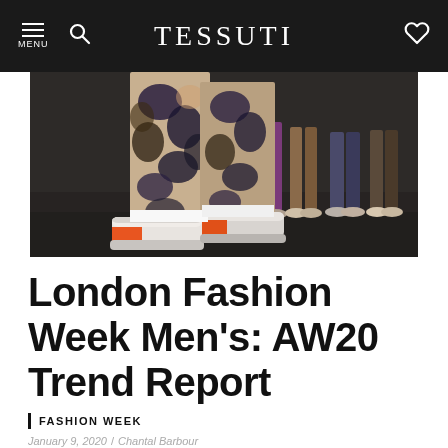TESSUTI
[Figure (photo): Fashion show runway photo showing model's legs and feet wearing patterned trousers with abstract print and orange-accented sneakers, on a concrete floor with audience visible in background]
London Fashion Week Men's: AW20 Trend Report
FASHION WEEK
January 9, 2020 / Chantal Barbour